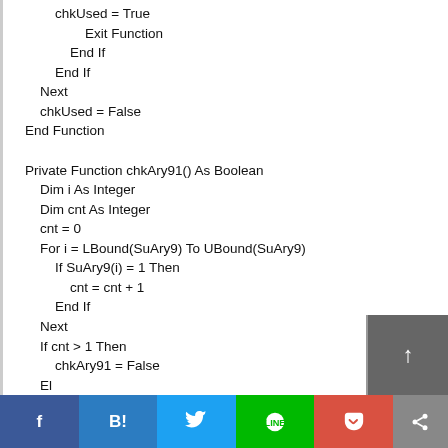chkUsed = True
                Exit Function
            End If
        End If
    Next
    chkUsed = False
End Function

Private Function chkAry91() As Boolean
    Dim i As Integer
    Dim cnt As Integer
    cnt = 0
    For i = LBound(SuAry9) To UBound(SuAry9)
        If SuAry9(i) = 1 Then
            cnt = cnt + 1
        End If
    Next
    If cnt > 1 Then
        chkAry91 = False
    El...